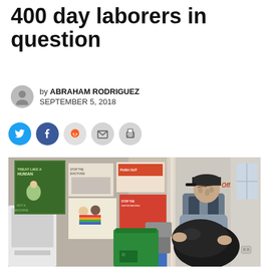400 day laborers in question
by ABRAHAM RODRIGUEZ
SEPTEMBER 5, 2018
[Figure (photo): A man wearing a cap and vest carries a large black garbage bag inside an office with social justice posters on the wall and a green recycling bin nearby. A sign reading Doctor's Office is visible in the background.]